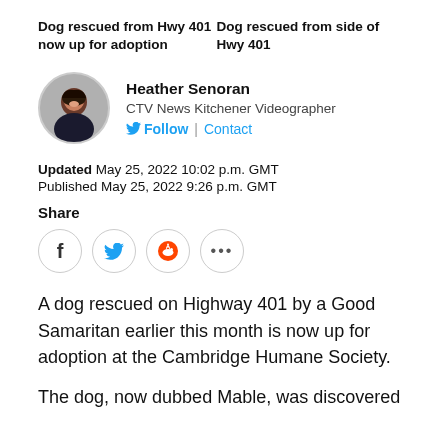Dog rescued from Hwy 401 now up for adoption
Dog rescued from side of Hwy 401
Heather Senoran
CTV News Kitchener Videographer
Follow | Contact
Updated May 25, 2022 10:02 p.m. GMT
Published May 25, 2022 9:26 p.m. GMT
Share
A dog rescued on Highway 401 by a Good Samaritan earlier this month is now up for adoption at the Cambridge Humane Society.
The dog, now dubbed Mable, was discovered